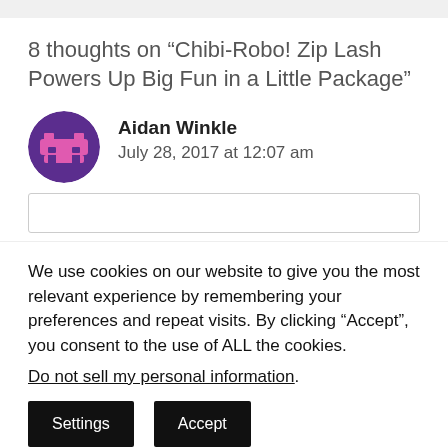8 thoughts on “Chibi-Robo! Zip Lash Powers Up Big Fun in a Little Package”
Aidan Winkle
July 28, 2017 at 12:07 am
We use cookies on our website to give you the most relevant experience by remembering your preferences and repeat visits. By clicking “Accept”, you consent to the use of ALL the cookies.
Do not sell my personal information.